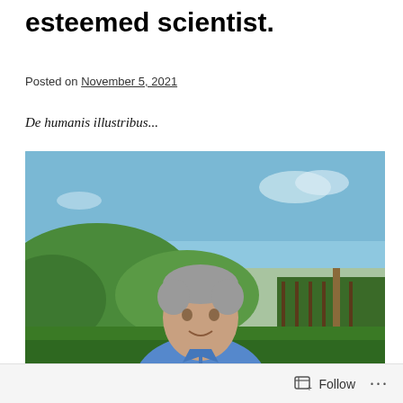esteemed scientist.
Posted on November 5, 2021
De humanis illustribus...
[Figure (photo): Middle-aged man with grey hair wearing a blue shirt, standing outdoors in front of a vineyard with green hills and blue sky in the background.]
Follow ...